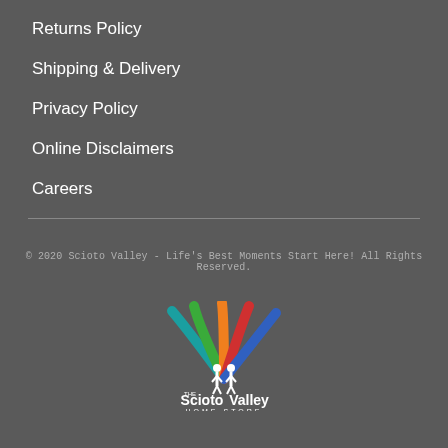Returns Policy
Shipping & Delivery
Privacy Policy
Online Disclaimers
Careers
© 2020 Scioto Valley - Life's Best Moments Start Here! All Rights Reserved.
[Figure (logo): The Scioto Valley Home Store logo with colorful fan-shaped arcs in teal, green, orange, red, blue colors with two human figure silhouettes and text 'THE Scioto Valley HOME STORE' in white]